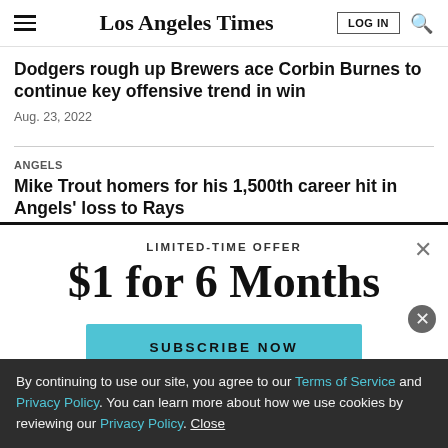Los Angeles Times
Dodgers rough up Brewers ace Corbin Burnes to continue key offensive trend in win
Aug. 23, 2022
ANGELS
Mike Trout homers for his 1,500th career hit in Angels' loss to Rays
LIMITED-TIME OFFER
$1 for 6 Months
SUBSCRIBE NOW
By continuing to use our site, you agree to our Terms of Service and Privacy Policy. You can learn more about how we use cookies by reviewing our Privacy Policy. Close